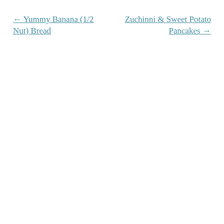← Yummy Banana (1/2 Nut) Bread
Zuchinni & Sweet Potato Pancakes →